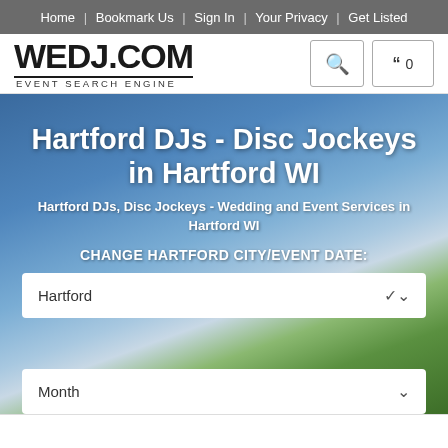Home | Bookmark Us | Sign In | Your Privacy | Get Listed
[Figure (logo): WEDJ.COM Event Search Engine logo with search and quote buttons]
Hartford DJs - Disc Jockeys in Hartford WI
Hartford DJs, Disc Jockeys - Wedding and Event Services in Hartford WI
CHANGE HARTFORD CITY/EVENT DATE:
Hartford
Month